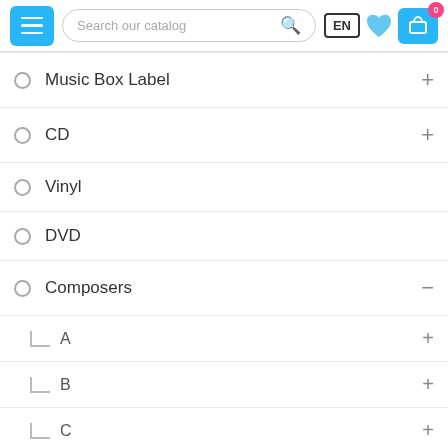[Figure (screenshot): Website navigation header with hamburger menu button, search bar, language selector (EN), heart wishlist icon, and shopping cart icon with badge showing 0]
Music Box Label
CD
Vinyl
DVD
Composers
A
B
C
D
E
F
G
H